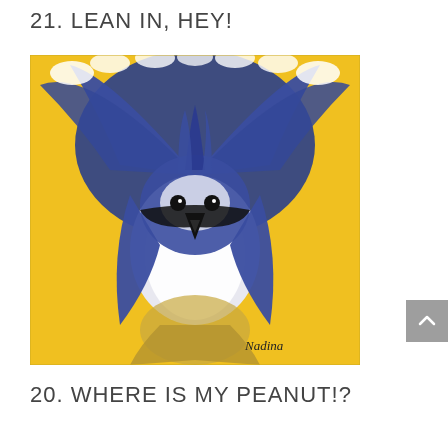21. LEAN IN, HEY!
[Figure (illustration): Painting of a blue jay bird viewed from below, showing fanned-out blue and white tail feathers spread wide like a fan at the top, with the bird's white chest and black beak facing the viewer. Yellow background. Signed 'Nadina' in bottom right corner.]
20. WHERE IS MY PEANUT!?